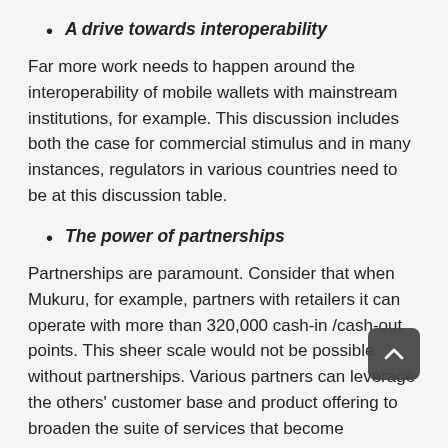A drive towards interoperability
Far more work needs to happen around the interoperability of mobile wallets with mainstream institutions, for example. This discussion includes both the case for commercial stimulus and in many instances, regulators in various countries need to be at this discussion table.
The power of partnerships
Partnerships are paramount. Consider that when Mukuru, for example, partners with retailers it can operate with more than 320,000 cash-in /cash-out points. This sheer scale would not be possible without partnerships. Various partners can leverage the others' customer base and product offering to broaden the suite of services that become accessible to Africans. These partnerships allow partners to generate more business and provide convenience for consumers.